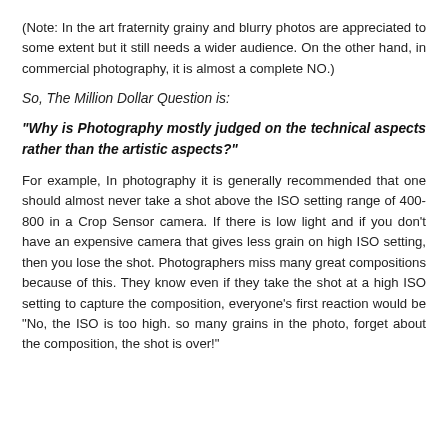(Note: In the art fraternity grainy and blurry photos are appreciated to some extent but it still needs a wider audience. On the other hand, in commercial photography, it is almost a complete NO.)
So, The Million Dollar Question is:
"Why is Photography mostly judged on the technical aspects rather than the artistic aspects?"
For example, In photography it is generally recommended that one should almost never take a shot above the ISO setting range of 400-800 in a Crop Sensor camera. If there is low light and if you don't have an expensive camera that gives less grain on high ISO setting, then you lose the shot. Photographers miss many great compositions because of this. They know even if they take the shot at a high ISO setting to capture the composition, everyone's first reaction would be "No, the ISO is too high. so many grains in the photo, forget about the composition, the shot is over!"